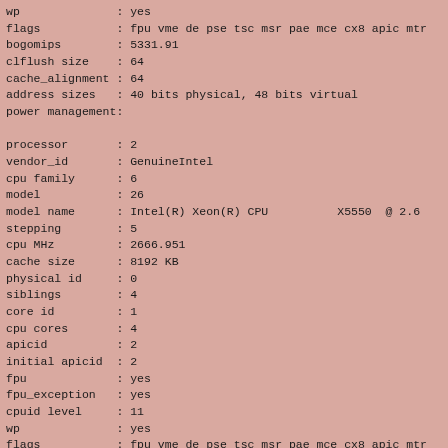wp              : yes
flags           : fpu vme de pse tsc msr pae mce cx8 apic mtr
bogomips        : 5331.91
clflush size    : 64
cache_alignment : 64
address sizes   : 40 bits physical, 48 bits virtual
power management:

processor       : 2
vendor_id       : GenuineIntel
cpu family      : 6
model           : 26
model name      : Intel(R) Xeon(R) CPU          X5550  @ 2.6
stepping        : 5
cpu MHz         : 2666.951
cache size      : 8192 KB
physical id     : 0
siblings        : 4
core id         : 1
cpu cores       : 4
apicid          : 2
initial apicid  : 2
fpu             : yes
fpu_exception   : yes
cpuid level     : 11
wp              : yes
flags           : fpu vme de pse tsc msr pae mce cx8 apic mtr
bogomips        : 5331.87
clflush size    : 64
cache_alignment : 64
address sizes   : 40 bits physical, 48 bits virtual
power management: